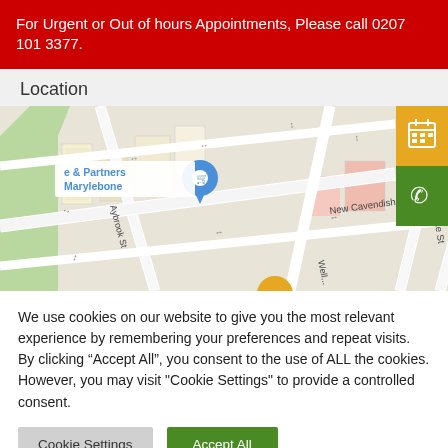For Urgent or Out of hours Appointments, Please call 0207 101 3377.
Location
[Figure (map): Google Maps view showing Marylebone area with streets including New Cavendish St, Wimpole St, Aybrook St, Mansfield St. A blue location pin labeled 'e & Partners Marylebone' with shopping cart icon is visible. Orange and green action buttons (calendar and phone) float on the right side.]
We use cookies on our website to give you the most relevant experience by remembering your preferences and repeat visits. By clicking “Accept All”, you consent to the use of ALL the cookies. However, you may visit "Cookie Settings" to provide a controlled consent.
Cookie Settings
Accept All